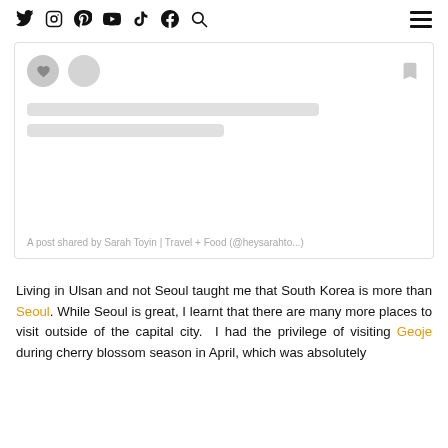Social media icons: Twitter, Instagram, Pinterest, YouTube, TikTok, Facebook, Search; Hamburger menu
[Figure (screenshot): An embedded Instagram post loading skeleton/placeholder card with avatar circles, skeleton bars for text, and a bookmark icon. Caption reads: A post shared by Sarah Toyin | Travel + Food (@heysarahto...)]
A post shared by Sarah Toyin | Travel + Food (@heysarahto...)
Living in Ulsan and not Seoul taught me that South Korea is more than Seoul. While Seoul is great, I learnt that there are many more places to visit outside of the capital city. I had the privilege of visiting Geoje during cherry blossom season in April, which was absolutely